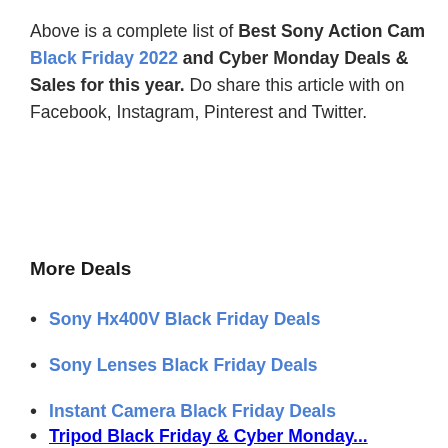Above is a complete list of Best Sony Action Cam Black Friday 2022 and Cyber Monday Deals & Sales for this year. Do share this article with on Facebook, Instagram, Pinterest and Twitter.
More Deals
Sony Hx400V Black Friday Deals
Sony Lenses Black Friday Deals
Instant Camera Black Friday Deals
Tripod Black Friday & Cyber Monday...